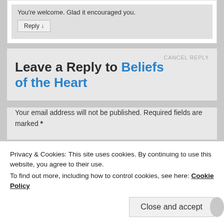You're welcome. Glad it encouraged you.
Reply ↓
Leave a Reply to Beliefs of the Heart CANCEL REPLY
Your email address will not be published. Required fields are marked *
Privacy & Cookies: This site uses cookies. By continuing to use this website, you agree to their use. To find out more, including how to control cookies, see here: Cookie Policy
Close and accept